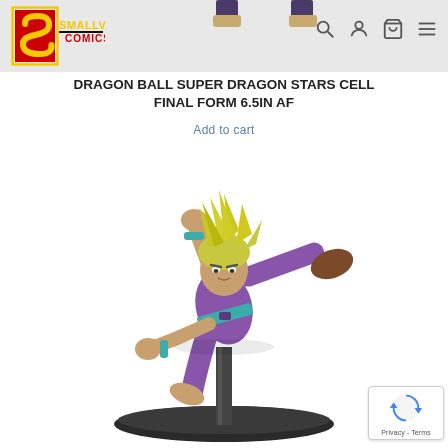Smallville Comics
DRAGON BALL SUPER DRAGON STARS CELL FINAL FORM 6.5IN AF
Add to cart
[Figure (photo): A Dragon Ball Super Dragon Stars action figure of a Super Saiyan character in a dynamic kicking pose, wearing a purple gi with teal sash, blond spiky hair, mounted on a round black base with a pole stand.]
[Figure (other): reCAPTCHA badge with Privacy - Terms text]